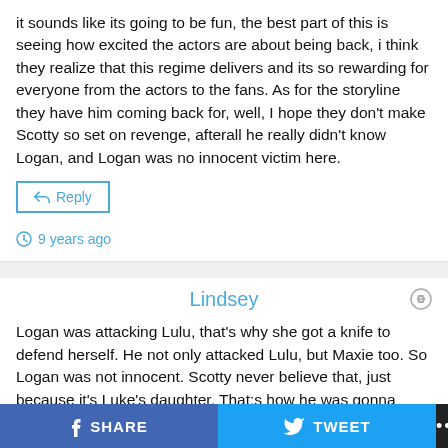it sounds like its going to be fun, the best part of this is seeing how excited the actors are about being back, i think they realize that this regime delivers and its so rewarding for everyone from the actors to the fans. As for the storyline they have him coming back for, well, I hope they don't make Scotty so set on revenge, afterall he really didn't know Logan, and Logan was no innocent victim here.
Reply
9 years ago
Lindsey
Logan was attacking Lulu, that's why she got a knife to defend herself. He not only attacked Lulu, but Maxie too. So Logan was not innocent. Scotty never believe that, just because it's Luke's daughter. That;s how he was gonna make Luke pay, putting Lulu in jail. It'll be a shock to Dante
SHARE
TWEET
...